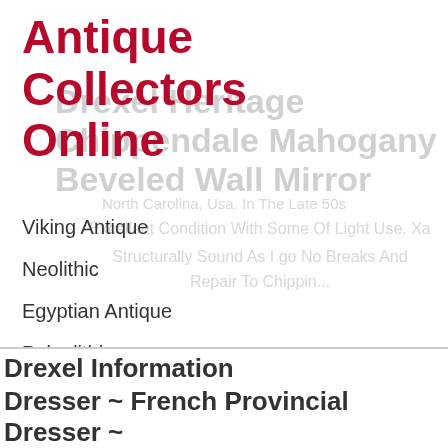Antique Collectors Online
Viking Antique
Neolithic
Egyptian Antique
Paleolithic
Islamic Antique
Medieval Antique
Drexel Information
Dresser ~ French Provincial Dresser ~